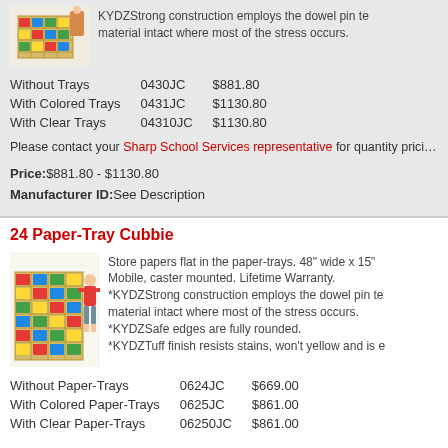[Figure (photo): Photo of a colorful cubbie storage unit with colored trays]
KYDZStrong construction employs the dowel pin te- material intact where most of the stress occurs.
| Without Trays | 0430JC | $881.80 |
| With Colored Trays | 0431JC | $1130.80 |
| With Clear Trays | 04310JC | $1130.80 |
Please contact your Sharp School Services representative for quantity pricing
Price:$881.80 - $1130.80
Manufacturer ID:See Description
24 Paper-Tray Cubbie
[Figure (photo): Photo of child standing next to a 24 paper-tray cubbie storage unit with colored paper trays]
Store papers flat in the paper-trays. 48" wide x 15" Mobile, caster mounted. Lifetime Warranty. *KYDZStrong construction employs the dowel pin te- material intact where most of the stress occurs. *KYDZSafe edges are fully rounded. *KYDZTuff finish resists stains, won't yellow and is e
| Without Paper-Trays | 0624JC | $669.00 |
| With Colored Paper-Trays | 0625JC | $861.00 |
| With Clear Paper-Trays | 06250JC | $861.00 |